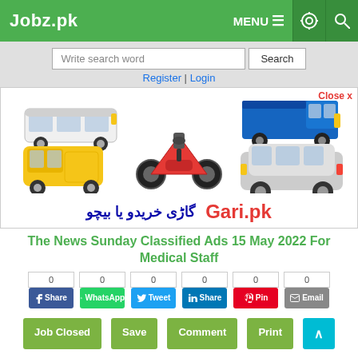Jobz.pk
Write search word | Search
Register | Login
[Figure (illustration): Banner advertisement for Gari.pk showing various vehicles: a white bus, a blue truck, a yellow auto-rickshaw, a red motorcycle, and a silver SUV. Text in Urdu reads 'Gaari Kharido ya Beecho' and 'Gari.pk' in red.]
Close x
The News Sunday Classified Ads 15 May 2022 For Medical Staff
0  Share  0  WhatsApp  0  Tweet  0  Share  0  Pin  0  Email
Job Closed  Save  Comment  Print